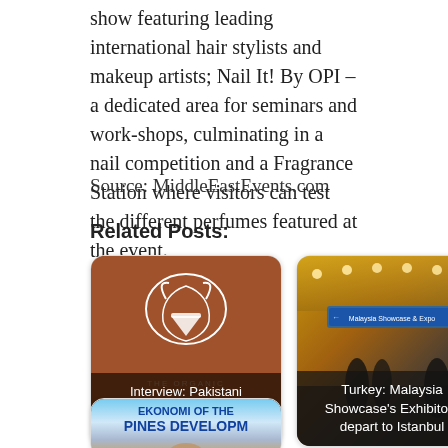show featuring leading international hair stylists and makeup artists; Nail It! By OPI – a dedicated area for seminars and work-shops, culminating in a nail competition and a Fragrance Station where visitors can test the different perfumes featured at the event.
Source: MiddleEastEvents.com
Related Posts:
[Figure (photo): Brown background card with white organic logo (Organic Valley style) showing text: Interview: Pakistani meat exporters are a threat to...]
[Figure (photo): Photo of airport interior (Malaysia Showcase Expo) with text overlay: Turkey: Malaysia Showcase's Exhibitors depart to Istanbul]
[Figure (photo): Partial card showing blue/white text 'EKONOMI OF THE PINES DEVELOPM' with a person visible at the bottom]